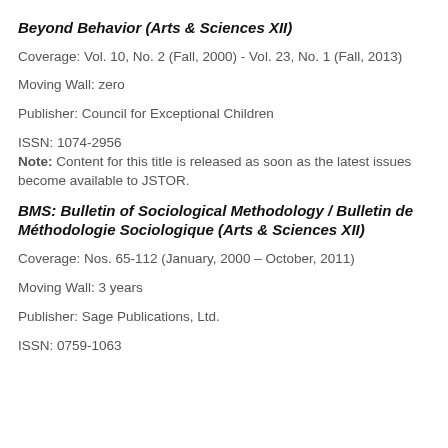Beyond Behavior (Arts & Sciences XII)
Coverage: Vol. 10, No. 2 (Fall, 2000) - Vol. 23, No. 1 (Fall, 2013)
Moving Wall: zero
Publisher: Council for Exceptional Children
ISSN: 1074-2956
Note: Content for this title is released as soon as the latest issues become available to JSTOR.
BMS: Bulletin of Sociological Methodology / Bulletin de Méthodologie Sociologique (Arts & Sciences XII)
Coverage: Nos. 65-112 (January, 2000 – October, 2011)
Moving Wall: 3 years
Publisher: Sage Publications, Ltd.
ISSN: 0759-1063